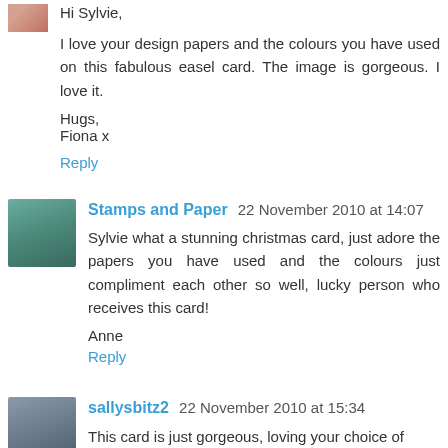Hi Sylvie,
I love your design papers and the colours you have used on this fabulous easel card. The image is gorgeous. I love it.
Hugs,
Fiona x
Reply
Stamps and Paper  22 November 2010 at 14:07
Sylvie what a stunning christmas card, just adore the papers you have used and the colours just compliment each other so well, lucky person who receives this card!
Anne
Reply
sallysbitz2  22 November 2010 at 15:34
This card is just gorgeous, loving your choice of colour xx
Reply